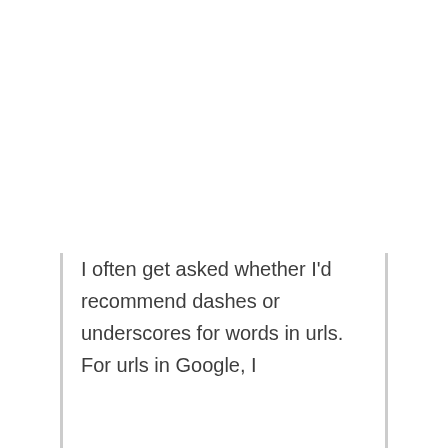I often get asked whether I'd recommend dashes or underscores for words in urls. For urls in Google, I